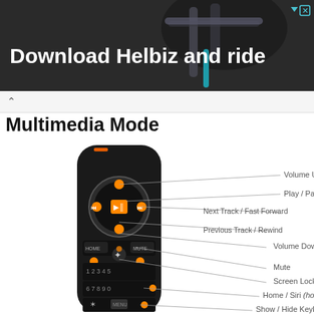[Figure (screenshot): Advertisement banner showing 'Download Helbiz and ride' with scooter image]
Multimedia Mode
[Figure (illustration): Diagram of a remote control in Multimedia Mode, with labeled buttons: Volume Up, Play / Pause, Next Track / Fast Forward, Previous Track / Rewind, Volume Down, Mute, Screen Lock, Home / Siri (hold), Show / Hide Keyboard]